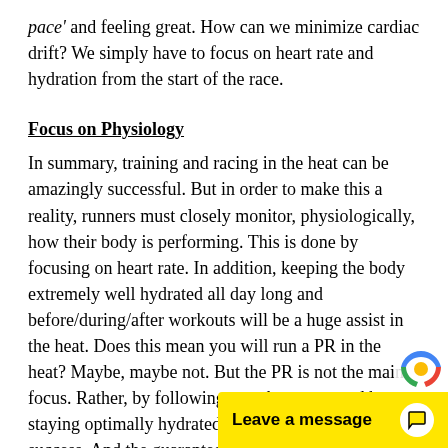pace' and feeling great. How can we minimize cardiac drift? We simply have to focus on heart rate and hydration from the start of the race.
Focus on Physiology
In summary, training and racing in the heat can be amazingly successful. But in order to make this a reality, runners must closely monitor, physiologically, how their body is performing. This is done by focusing on heart rate. In addition, keeping the body extremely well hydrated all day long and before/during/after workouts will be a huge assist in the heat. Does this mean you will run a PR in the heat? Maybe, maybe not. But the PR is not the main focus. Rather, by following your heart rate and by staying optimally hydrated you will be guaranteed success. And the guarantee is this: you will have the best possible performance, on that day, in the given conditions. Now that is one heck of a guarantee.
In marathon racing, there